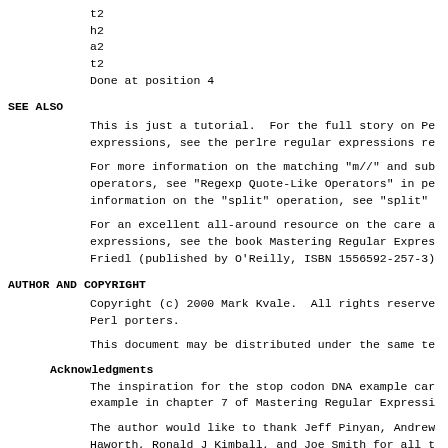t2
h2
a2
t2
Done at position 4
SEE ALSO
This is just a tutorial.  For the full story on Pe
expressions, see the perlre regular expressions re
For more information on the matching "m//" and sub
operators, see "Regexp Quote-Like Operators" in pe
information on the "split" operation, see "split"
For an excellent all-around resource on the care a
expressions, see the book Mastering Regular Expres
Friedl (published by O'Reilly, ISBN 1556592-257-3)
AUTHOR AND COPYRIGHT
Copyright (c) 2000 Mark Kvale.  All rights reserve
Perl porters.
This document may be distributed under the same te
Acknowledgments
The inspiration for the stop codon DNA example car
example in chapter 7 of Mastering Regular Expressi
The author would like to thank Jeff Pinyan, Andrew
Haworth, Ronald J Kimball, and Joe Smith for all t
comments.